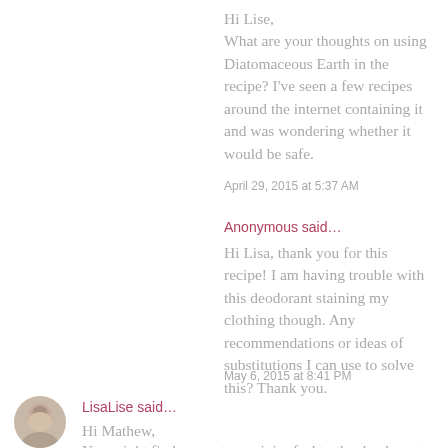Hi Lise,
What are your thoughts on using Diatomaceous Earth in the recipe? I've seen a few recipes around the internet containing it and was wondering whether it would be safe.
April 29, 2015 at 5:37 AM
Anonymous said...
Hi Lisa, thank you for this recipe! I am having trouble with this deodorant staining my clothing though. Any recommendations or ideas of substitutions I can use to solve this? Thank you.
May 6, 2015 at 8:41 PM
LisaLise said...
Hi Mathew,
You might find you get a grainier feel to the deodorant using Diatomaceous Earth, but